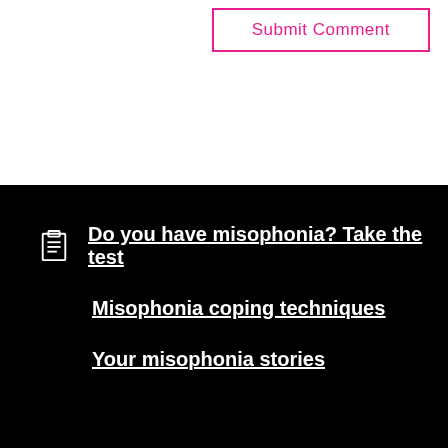Submit Comment
Do you have misophonia? Take the test
Misophonia coping techniques
Your misophonia stories